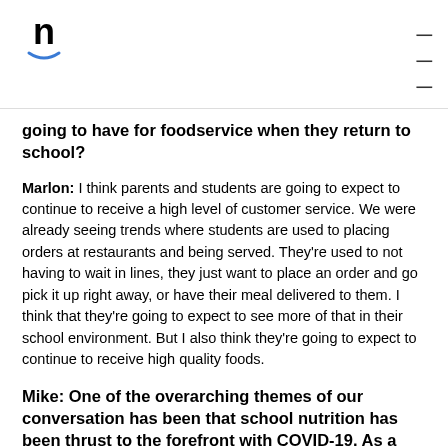n [logo] ≡ [menu]
going to have for foodservice when they return to school?
Marlon: I think parents and students are going to expect to continue to receive a high level of customer service. We were already seeing trends where students are used to placing orders at restaurants and being served. They're used to not having to wait in lines, they just want to place an order and go pick it up right away, or have their meal delivered to them. I think that they're going to expect to see more of that in their school environment. But I also think they're going to expect to continue to receive high quality foods.
Mike: One of the overarching themes of our conversation has been that school nutrition has been thrust to the forefront with COVID-19. As a